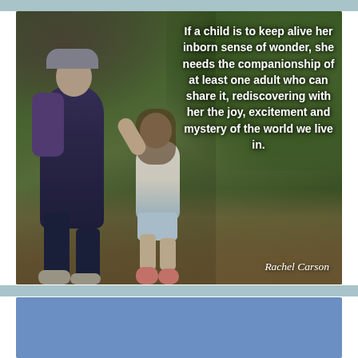[Figure (photo): An adult bending down toward a young child on a nature trail surrounded by green foliage. The adult is wearing a backpack and cap, the child is reaching up toward the adult. Quote text overlaid on the right side of the image.]
If a child is to keep alive her inborn sense of wonder, she needs the companionship of at least one adult who can share it, rediscovering with her the joy, excitement and mystery of the world we live in.
Rachel Carson